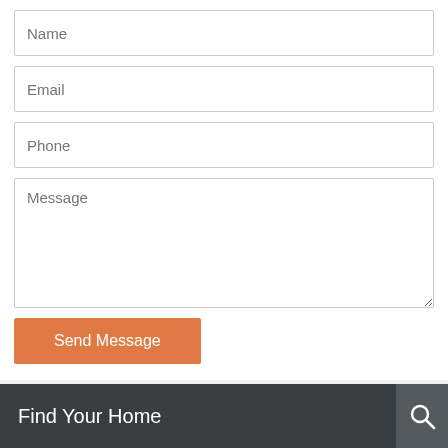Name
Email
Phone
Message
Send Message
Find Your Home